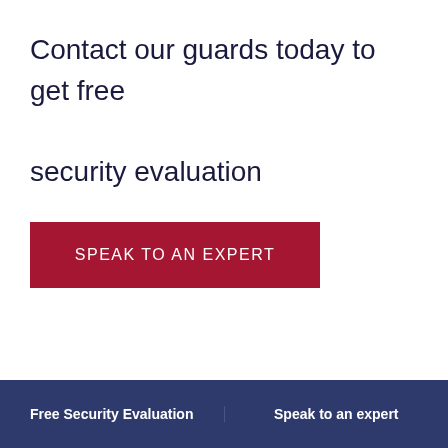Contact our guards today to get free security evaluation
SPEAK TO AN EXPERT
Free Security Evaluation   |   Speak to an expert